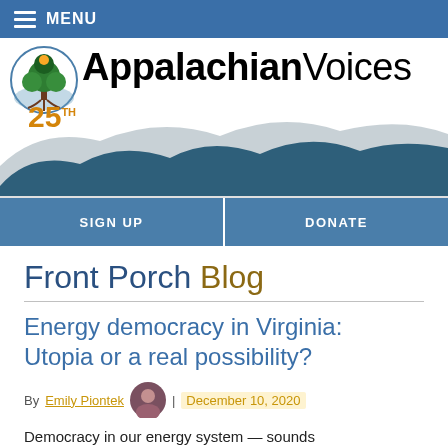MENU
[Figure (logo): Appalachian Voices logo with tree and mountains, 25th anniversary badge, and mountain silhouette illustration]
SIGN UP | DONATE
Front Porch Blog
Energy democracy in Virginia: Utopia or a real possibility?
By Emily Piontek | December 10, 2020
Democracy in our energy system — sounds